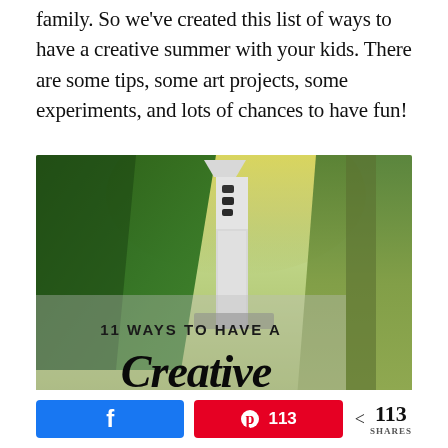family. So we've created this list of ways to have a creative summer with your kids. There are some tips, some art projects, some experiments, and lots of chances to have fun!
[Figure (photo): Outdoor photo showing trees and a tall white birdhouse/bird tower in the center, with overlay text reading '11 WAYS TO HAVE A Creative']
Facebook share button | Pinterest 113 shares | < 113 SHARES